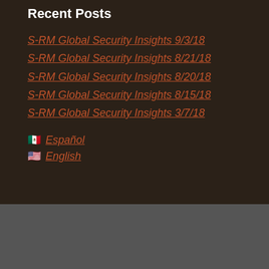Recent Posts
S-RM Global Security Insights 9/3/18
S-RM Global Security Insights 8/21/18
S-RM Global Security Insights 8/20/18
S-RM Global Security Insights 8/15/18
S-RM Global Security Insights 3/7/18
🇲🇽 Español
🇺🇸 English